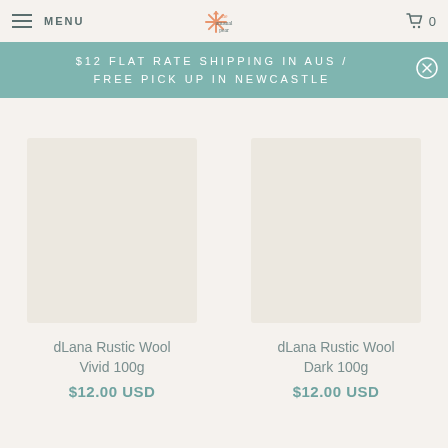MENU | The Unusual Pear | Cart 0
$12 FLAT RATE SHIPPING IN AUS / FREE PICK UP IN NEWCASTLE
dLana Rustic Wool Vivid 100g
$12.00 USD
dLana Rustic Wool Dark 100g
$12.00 USD